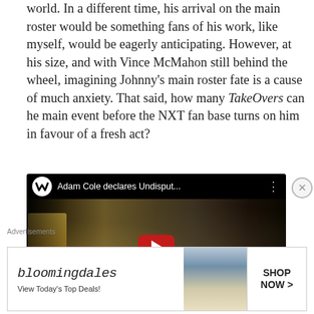world. In a different time, his arrival on the main roster would be something fans of his work, like myself, would be eagerly anticipating. However, at his size, and with Vince McMahon still behind the wheel, imagining Johnny's main roster fate is a cause of much anxiety. That said, how many TakeOvers can he main event before the NXT fan base turns on him in favour of a fresh act?
[Figure (screenshot): YouTube video embed showing WWE video titled 'Adam Cole declares Undisput...' featuring wrestlers including Adam Cole with NXT championship belt. Red YouTube play button visible in center.]
Advertisements
[Figure (screenshot): Bloomingdale's advertisement banner reading 'bloomingdales View Today's Top Deals!' with a woman in a large hat and 'SHOP NOW >' button]